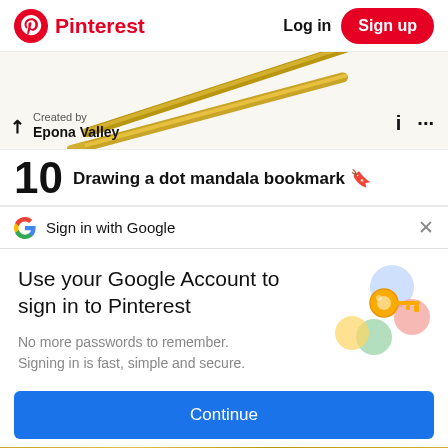Pinterest   Log in   Sign up
[Figure (photo): Gold hair pins/bobby pins on white background]
Created by
Epona Valley
10   Drawing a dot mandala bookmark 🔖
Sign in with Google
Use your Google Account to sign in to Pinterest
No more passwords to remember.
Signing in is fast, simple and secure.
[Figure (illustration): Google key illustration with colorful circles]
Continue